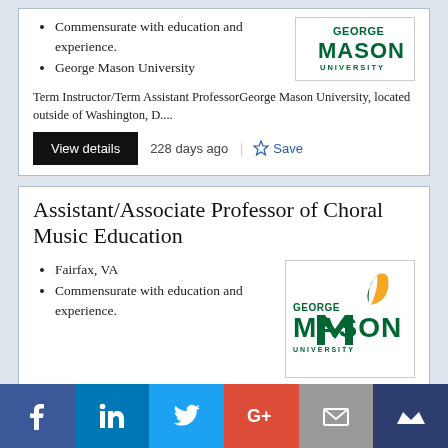Commensurate with education and experience.
George Mason University
Term Instructor/Term Assistant ProfessorGeorge Mason University, located outside of Washington, D....
228 days ago
Assistant/Associate Professor of Choral Music Education
Fairfax, VA
Commensurate with education and experience.
[Figure (logo): George Mason University logo with green MASON text and feather/flame graphic]
Social share bar: Facebook, LinkedIn, Twitter, Google+, Email, Crown/Muck Rack